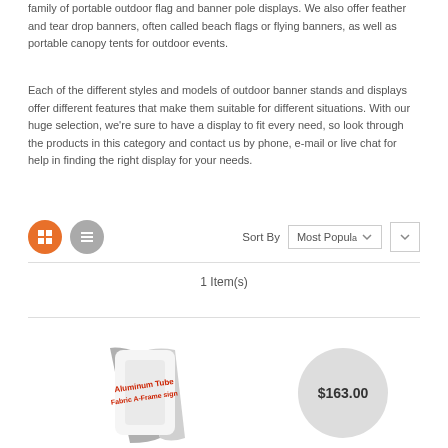family of portable outdoor flag and banner pole displays. We also offer feather and tear drop banners, often called beach flags or flying banners, as well as portable canopy tents for outdoor events.
Each of the different styles and models of outdoor banner stands and displays offer different features that make them suitable for different situations. With our huge selection, we’re sure to have a display to fit every need, so look through the products in this category and contact us by phone, e-mail or live chat for help in finding the right display for your needs.
1 Item(s)
[Figure (screenshot): Product listing page UI showing grid/list view toggle buttons, Sort By dropdown with 'Most Popular' selected, a horizontal rule, item count '1 Item(s)', another rule, and a product image of an Aluminum Tube Fabric A-Frame sign with a price circle showing $163.00]